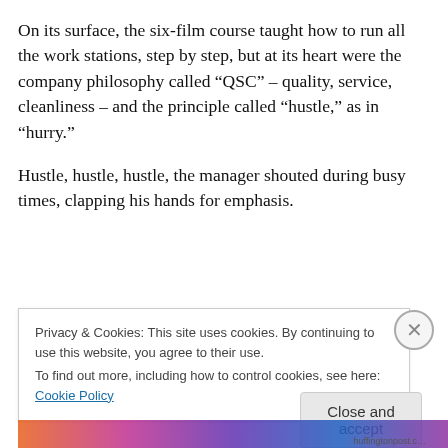On its surface, the six-film course taught how to run all the work stations, step by step, but at its heart were the company philosophy called “QSC” – quality, service, cleanliness – and the principle called “hustle,” as in “hurry.”
Hustle, hustle, hustle, the manager shouted during busy times, clapping his hands for emphasis.
Privacy & Cookies: This site uses cookies. By continuing to use this website, you agree to their use.
To find out more, including how to control cookies, see here: Cookie Policy